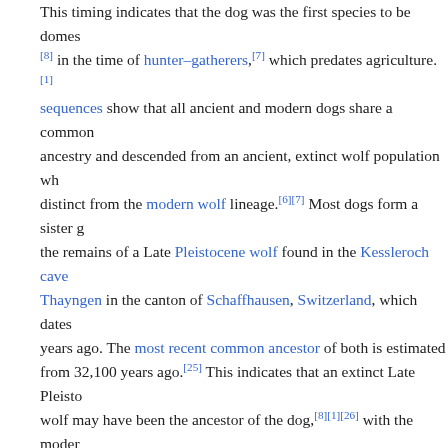This timing indicates that the dog was the first species to be domesticated [8] in the time of hunter–gatherers,[7] which predates agriculture.[1] sequences show that all ancient and modern dogs share a common ancestry and descended from an ancient, extinct wolf population which is distinct from the modern wolf lineage.[6][7] Most dogs form a sister group to the remains of a Late Pleistocene wolf found in the Kessleroch cave near Thayngen in the canton of Schaffhausen, Switzerland, which dates to 14,500 years ago. The most recent common ancestor of both is estimated to date from 32,100 years ago.[25] This indicates that an extinct Late Pleistocene wolf may have been the ancestor of the dog,[8][1][26] with the modern wolf being the dog's nearest living relative.[8]
The dog is a classic example of a domestic animal that likely travelled the commensal pathway into domestication.[24][27] The questions of when and where dogs were first domesticated have taxed geneticists and archaeologists for decades.[9] Genetic studies suggest a domestication process commencing over 25,000 years ago, in one or several wolf populations in either Europe, the high Arctic, or eastern Asia.[10] In 2021 a literature review of the current evidence infers that the dog was domesticated in Siberia 23,000 years ago by ancient North Siberian...